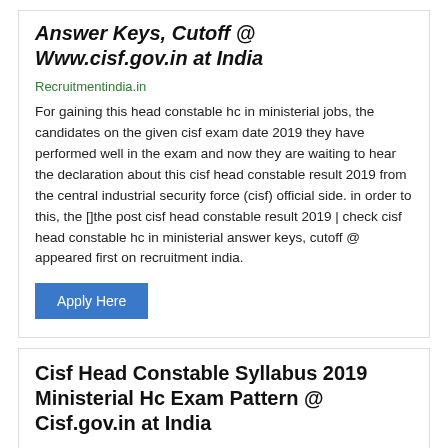Answer Keys, Cutoff @ Www.cisf.gov.in at India
Recruitmentindia.in
For gaining this head constable hc in ministerial jobs, the candidates on the given cisf exam date 2019 they have performed well in the exam and now they are waiting to hear the declaration about this cisf head constable result 2019 from the central industrial security force (cisf) official side. in order to this, the []the post cisf head constable result 2019 | check cisf head constable hc in ministerial answer keys, cutoff @ appeared first on recruitment india.
Apply Here
Cisf Head Constable Syllabus 2019 Ministerial Hc Exam Pattern @ Cisf.gov.in at India